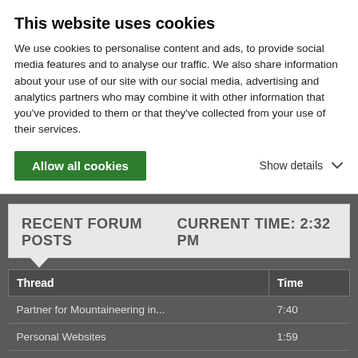This website uses cookies
We use cookies to personalise content and ads, to provide social media features and to analyse our traffic. We also share information about your use of our site with our social media, advertising and analytics partners who may combine it with other information that you've provided to them or that they've collected from your use of their services.
Allow all cookies    Show details ▾
RECENT FORUM POSTS    CURRENT TIME: 2:32 PM
| Thread | Time |
| --- | --- |
| Partner for Mountaineering in... | 7:40 |
| Personal Websites | 1:59 |
| "Forbidden" error? | 11:22 |
| MISSING HIKER on Split Mountain:... | 3:12 |
| Mount Kilimanjaro, Africa's highest... | 1:52 |